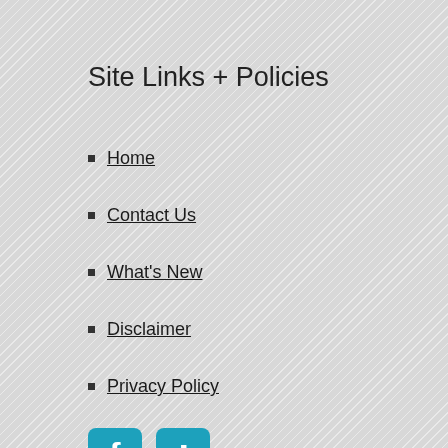Site Links + Policies
Home
Contact Us
What's New
Disclaimer
Privacy Policy
[Figure (logo): Facebook and Yelp social media icon buttons in teal/blue rounded square style]
Optical + Eye Care Links
Hours & Location
Our Eye Doctor